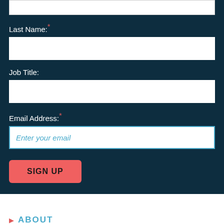Last Name: *
Job Title:
Email Address: *
Enter your email
SIGN UP
ABOUT